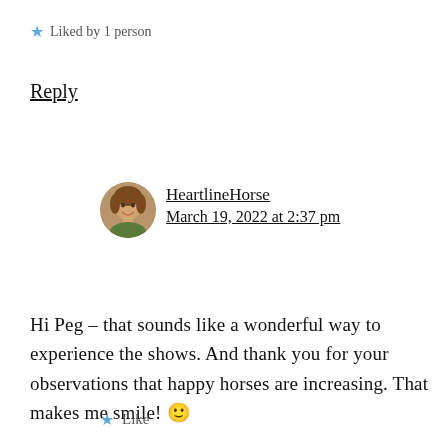★ Liked by 1 person
Reply
[Figure (photo): Circular avatar photo of a woman smiling, used as a blog comment author profile image.]
HeartlineHorse
March 19, 2022 at 2:37 pm
Hi Peg – that sounds like a wonderful way to experience the shows. And thank you for your observations that happy horses are increasing. That makes me smile! 🙂
★ Like